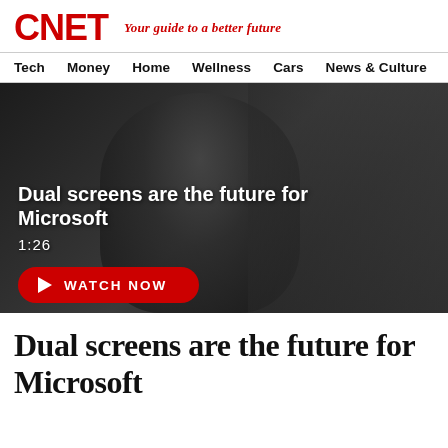CNET — Your guide to a better future
Tech   Money   Home   Wellness   Cars   News & Culture
[Figure (screenshot): Video thumbnail showing a man in a dark setting with overlay text 'Dual screens are the future for Microsoft', duration 1:26, and a red WATCH NOW button]
Dual screens are the future for Microsoft